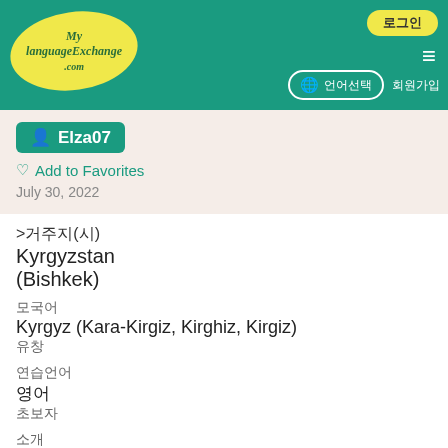[Figure (logo): MyLanguageExchange.com logo in yellow oval on teal header background]
로그인  ≡  🌐 언어선택  회원가입
Elza07
Add to Favorites
July 30, 2022
>거주지(시)
Kyrgyzstan
(Bishkek)
모국어
Kyrgyz (Kara-Kirgiz, Kirghiz, Kirgiz)
유창
연습언어
영어
초보자
소개
I am Elza. Want to practice english here as I